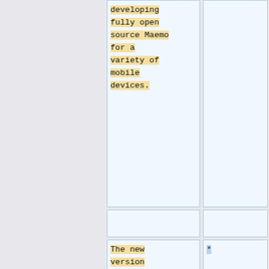developing fully open source Maemo for a variety of mobile devices.
* [https://www.webos-ports.org/wiki/Main_Page WebOS Ports Wiki]
The new version Maemo 7 "Leste" is an ARM64 port of [https://devuan.org/Devuan] (Debian without systemd) and runs the